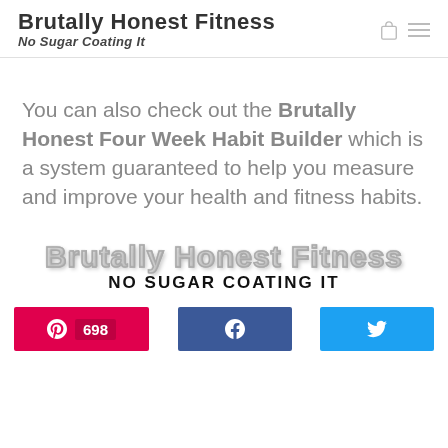Brutally Honest Fitness No Sugar Coating It
You can also check out the Brutally Honest Four Week Habit Builder which is a system guaranteed to help you measure and improve your health and fitness habits.
[Figure (logo): Brutally Honest Fitness logo in metallic gray lettering with 'NO SUGAR COATING IT' in bold black text below]
698 (Pinterest share button), Facebook share button, Twitter share button